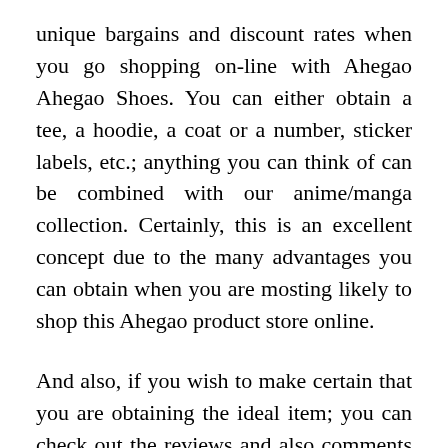unique bargains and discount rates when you go shopping on-line with Ahegao Ahegao Shoes. You can either obtain a tee, a hoodie, a coat or a number, sticker labels, etc.; anything you can think of can be combined with our anime/manga collection. Certainly, this is an excellent concept due to the many advantages you can obtain when you are mosting likely to shop this Ahegao product store online.
And also, if you wish to make certain that you are obtaining the ideal item; you can check out the reviews and also comments of the previous purchasers of this item ahegao merch. You can obtain the items that you desire at the least expensive cost readily available. You can additionally have a look at the website's areas where